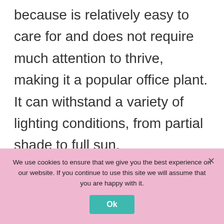because is relatively easy to care for and does not require much attention to thrive, making it a popular office plant. It can withstand a variety of lighting conditions, from partial shade to full sun.

But remember, all parts of Kalanchoe Tomentosa a.k.a. 'Panda Plant' are toxic when ingested, so make sure to keep your furry
We use cookies to ensure that we give you the best experience on our website. If you continue to use this site we will assume that you are happy with it.